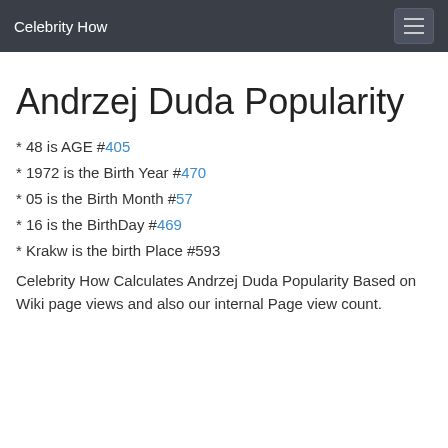Celebrity How
Andrzej Duda Popularity
* 48 is AGE #405
* 1972 is the Birth Year #470
* 05 is the Birth Month #57
* 16 is the BirthDay #469
* Krakw is the birth Place #593
Celebrity How Calculates Andrzej Duda Popularity Based on Wiki page views and also our internal Page view count.